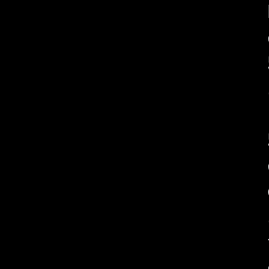ht.so.5 libKF5IncidenceEd o.5 libKF5ItemModels.so.5 5ItemViews.so.5 libKF5JobW s.so.5 libKF5KCMUtils.so.5 F5KIOCore.so.5 libKF5KIOGu 5 libKF5KIOWidgets.so.5 li ontactInterface.so.5 libKF depim.so.5 libKF5MailTrans so.5 libKF5Mime.so.5 libKF tuff.so.5 libKF5NewStuffCo o.5 libKF5Notifications.so bKF5Parts.so.5 libKF5PimCo so.5 libKF5PimCommonAkonadi 5 libKF5Service.so.5 libKF etsAddons.so.5 libKF5Windo em.so.5 libKF5XmlGui.so.5 5Core.so.5 libQt5Core.so.5 5) libQt5Core.so.5(Qt_5.15 Qt5DBus.so.5 libQt5DBus.so _5) libQt5Gui.so.5 libQt5G o.5(Qt_5) libQt5Widgets.so bQt5Widgets.so.5(Qt_5) lib 6 libc.so.6(GLIBC_2.0) lib 6(GLIBC_2.1.3) libc.so.6(